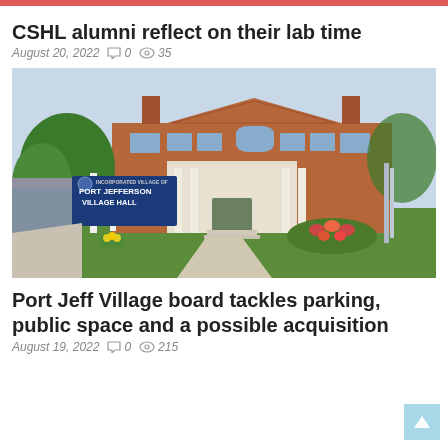CSHL alumni reflect on their lab time
August 20, 2022  💬 0  👁 35
[Figure (photo): Exterior photo of Port Jefferson Village Hall, a two-story red brick building with a blue sign in front reading INCORPORATED VILLAGE OF PORT JEFFERSON VILLAGE HALL. Green lawn, flowers, and trees visible.]
Port Jeff Village board tackles parking, public space and a possible acquisition
August 19, 2022  💬 0  👁 215